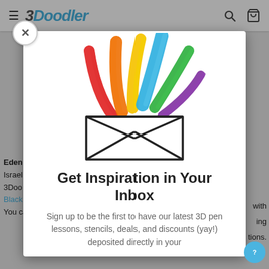3Doodler
[Figure (illustration): 3D pen doodled envelope with colorful 3D-printed strands (red, orange, yellow, blue, green, purple) bursting out from the top like feathers or ribbons]
Get Inspiration in Your Inbox
Sign up to be the first to have our latest 3D pen lessons, stencils, deals, and discounts (yay!) deposited directly in your